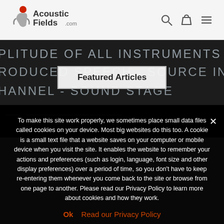[Figure (logo): Acoustic Fields .com logo with stylized figure icon in red/gray]
[Figure (screenshot): Navigation icons: search magnifying glass, shopping bag, hamburger menu]
[Figure (photo): Chalkboard background with handwritten text: AMPLITUDE OF ALL INSTRUMENTS, PRODUCED SPEECH - SOURCE IN ROO, CHANNEL - SOUND STAGE, and partial text at bottom]
Featured Articles
To make this site work properly, we sometimes place small data files called cookies on your device. Most big websites do this too. A cookie is a small text file that a website saves on your computer or mobile device when you visit the site. It enables the website to remember your actions and preferences (such as login, language, font size and other display preferences) over a period of time, so you don't have to keep re-entering them whenever you come back to the site or browse from one page to another. Please read our Privacy Policy to learn more about cookies and how they work.
Ok   Read our Privacy Policy